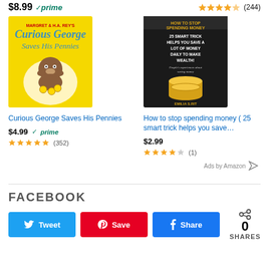$8.99 ✓prime (rating row top)
★★★★★ (244)
[Figure (illustration): Book cover of 'Curious George Saves His Pennies' by Margret & H.A. Rey, yellow background with Curious George monkey saving coins]
Curious George Saves His Pennies
$4.99 ✓prime
★★★★★ (352)
[Figure (illustration): Book cover of 'How to Stop Spending Money: 25 smart trick helps you save a lot of money daily to make wealth!' by Emilia S. Rit, dark background with gold coins]
How to stop spending money ( 25 smart trick helps you save…
$2.99
★★★★☆ (1)
Ads by Amazon
FACEBOOK
0 SHARES